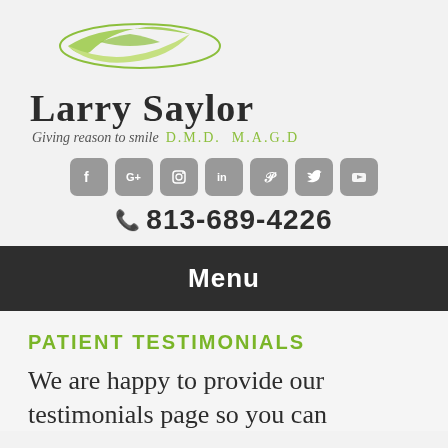[Figure (logo): Green leaf/lips logo for Larry Saylor DMD dental practice]
Larry Saylor
Giving reason to smile  D.M.D.  M.A.G.D
[Figure (infographic): Row of 7 social media icons: Facebook, Google+, Instagram, LinkedIn, Pinterest, Twitter, YouTube]
813-689-4226
Menu
PATIENT TESTIMONIALS
We are happy to provide our testimonials page so you can